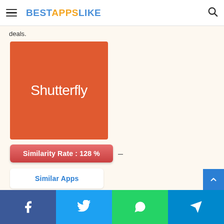BESTAPPSLIKE
deals.
[Figure (logo): Shutterfly app logo — orange/red square background with white 'Shutterfly' wordmark text]
Similarity Rate : 128 %
Similar Apps
Facebook | Twitter | WhatsApp | Telegram social share buttons